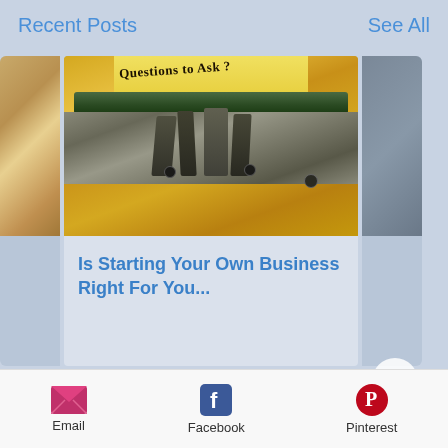Recent Posts
See All
[Figure (screenshot): A typewriter with yellow paper showing the text 'Questions to Ask?' typed on it, with the mechanical parts of the typewriter visible]
Is Starting Your Own Business Right For You...
Email   Facebook   Pinterest